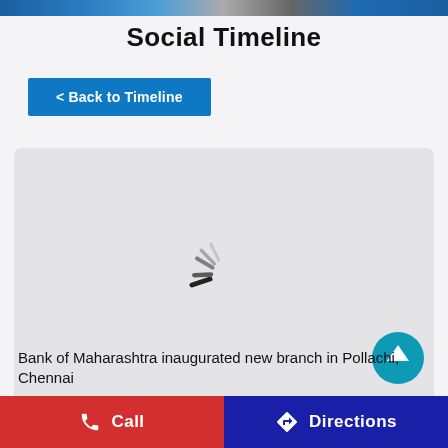[Figure (photo): Top banner image strip showing partial view of people]
Social Timeline
< Back to Timeline
[Figure (other): Loading spinner animation on grey card background]
Bank of Maharashtra inaugurated new branch in Pollachi, Chennai
Call   Directions